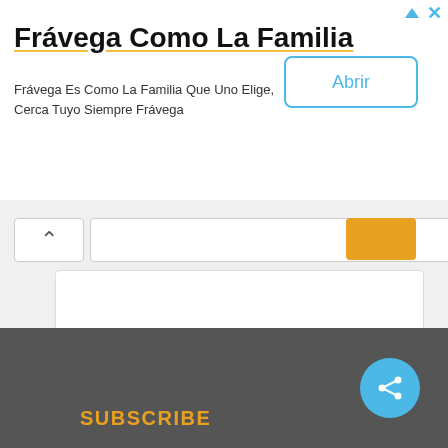[Figure (screenshot): Advertisement banner for Frávega Como La Familia with title text, body text, and Abrir button]
Frávega Como La Familia
Frávega Es Como La Familia Que Uno Elige, Cerca Tuyo Siempre Frávega
ackee
aioli
aloo
article
bacon
bake
baked
bakery
baking
banana
SUBSCRIBE